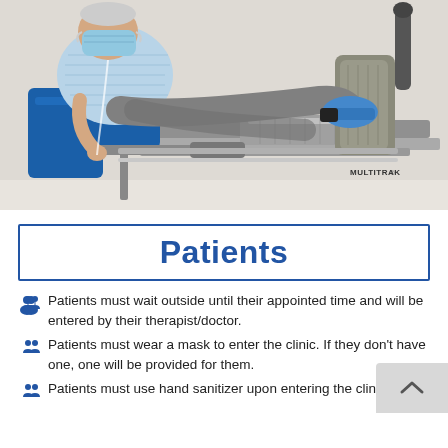[Figure (photo): A patient wearing a blue face mask and light blue striped shirt sits on a blue rehabilitation machine (MULTITRAK brand), performing a leg press exercise in a clinical setting. The patient is wearing grey pants and blue sneakers.]
Patients
Patients must wait outside until their appointed time and will be entered by their therapist/doctor.
Patients must wear a mask to enter the clinic. If they don't have one, one will be provided for them.
Patients must use hand sanitizer upon entering the clinic.